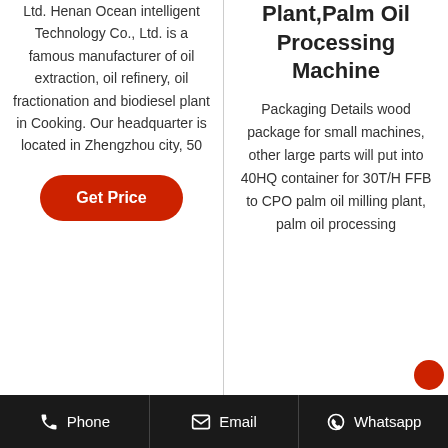Ltd. Henan Ocean intelligent Technology Co., Ltd. is a famous manufacturer of oil extraction, oil refinery, oil fractionation and biodiesel plant in Cooking. Our headquarter is located in Zhengzhou city, 50
Get Price
Plant,Palm Oil Processing Machine
Packaging Details wood package for small machines, other large parts will put into 40HQ container for 30T/H FFB to CPO palm oil milling plant, palm oil processing
Phone   Email   Whatsapp